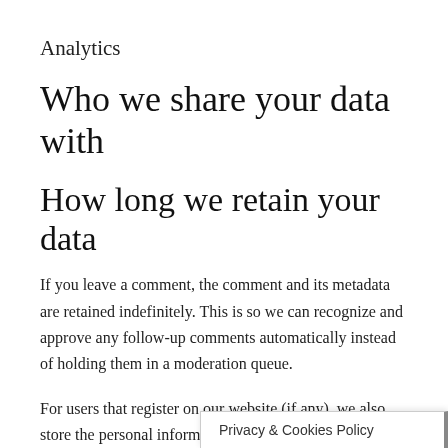Analytics
Who we share your data with
How long we retain your data
If you leave a comment, the comment and its metadata are retained indefinitely. This is so we can recognize and approve any follow-up comments automatically instead of holding them in a moderation queue.
For users that register on our website (if any), we also store the personal information they provide in their user profile. All users can edit or delete their personal information cannot